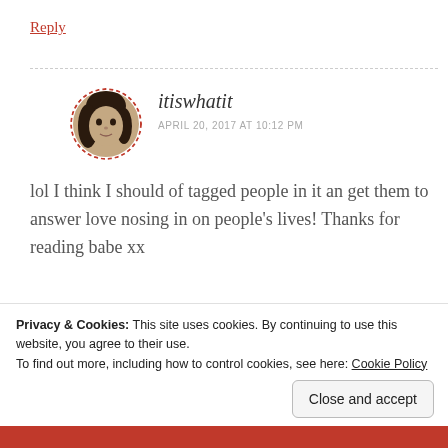Reply
[Figure (photo): Circular avatar photo of a young woman with dark hair, framed by a dashed red-pink border.]
itiswhatit
APRIL 20, 2017 AT 10:12 PM
lol I think I should of tagged people in it an get them to answer love nosing in on people's lives! Thanks for reading babe xx
Like
Privacy & Cookies: This site uses cookies. By continuing to use this website, you agree to their use.
To find out more, including how to control cookies, see here: Cookie Policy
Close and accept